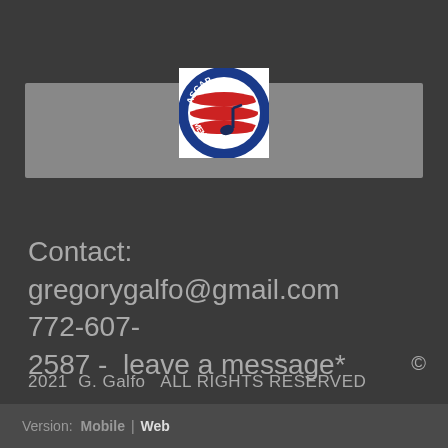[Figure (logo): ASCAP Member logo — circular badge with blue border, red and white stripes, musical note, white text reading ASCAP MEMBER]
Contact:
gregorygalfo@gmail.com      772-607-2587 -  leave a message*
©
2021  G. Galfo   ALL RIGHTS RESERVED
Version:  Mobile  |  Web